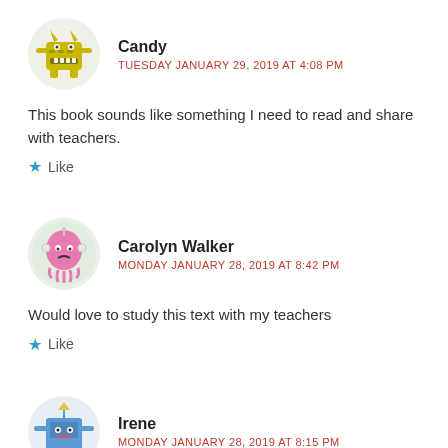[Figure (illustration): Yellow monster cartoon avatar for user Candy]
Candy
TUESDAY JANUARY 29, 2019 AT 4:08 PM
This book sounds like something I need to read and share with teachers.
Like
[Figure (illustration): Pink ghost cartoon avatar in green circle for user Carolyn Walker]
Carolyn Walker
MONDAY JANUARY 28, 2019 AT 8:42 PM
Would love to study this text with my teachers
Like
[Figure (illustration): Blue robot cartoon avatar in light circle for user Irene]
Irene
MONDAY JANUARY 28, 2019 AT 8:15 PM